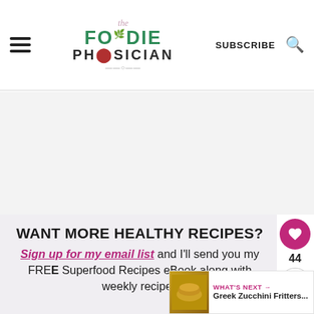The Foodie Physician — SUBSCRIBE
[Figure (other): Advertisement placeholder area, light gray background]
WANT MORE HEALTHY RECIPES?
Sign up for my email list and I'll send you my FREE Superfood Recipes eBook along with weekly recipes
[Figure (other): WHAT'S NEXT → Greek Zucchini Fritters... with food thumbnail]